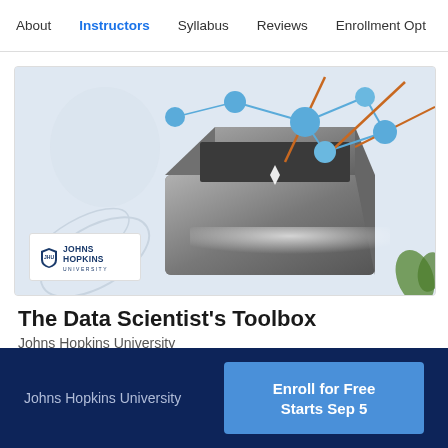About  Instructors  Syllabus  Reviews  Enrollment Opt
[Figure (illustration): Course card image showing a toolbox with molecular/network nodes (blue spheres) and orange arrows, with a Johns Hopkins University logo overlay in the bottom-left corner]
The Data Scientist’s Toolbox
Johns Hopkins University
Johns Hopkins University
Enroll for Free Starts Sep 5